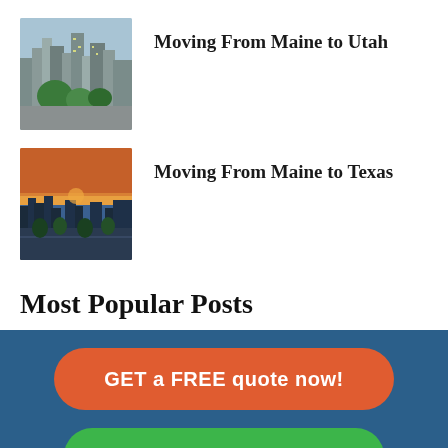[Figure (photo): City skyline with tall buildings and green trees, urban aerial view]
Moving From Maine to Utah
[Figure (photo): Aerial view of a city at dusk with orange sky and streets with trees]
Moving From Maine to Texas
Most Popular Posts
GET a FREE quote now!
Call Us: (888) 908-6496